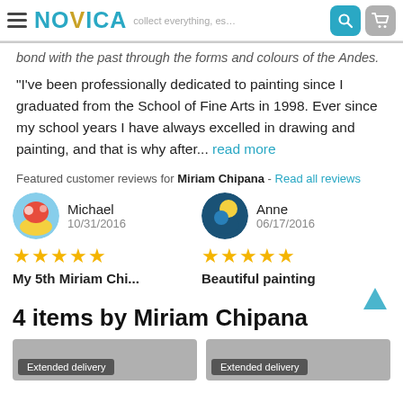NOVICA — collect everything, es…
bond with the past through the forms and colours of the Andes.
"I've been professionally dedicated to painting since I graduated from the School of Fine Arts in 1998. Ever since my school years I have always excelled in drawing and painting, and that is why after... read more
Featured customer reviews for Miriam Chipana - Read all reviews
Michael
10/31/2016
★★★★★
My 5th Miriam Chi...
Anne
06/17/2016
★★★★★
Beautiful painting
4 items by Miriam Chipana
[Figure (photo): Two product thumbnails with 'Extended delivery' badge]
Extended delivery
Extended delivery